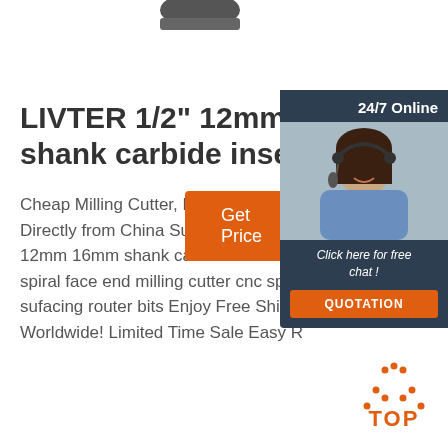[Figure (photo): Partial view of a dark metallic milling cutter tool at the top of the page]
LIVTER 1/2" 12mm 16mm shank carbide inserts bla
Cheap Milling Cutter, Buy Quality Too Directly from China Suppliers:LIVTER 12mm 16mm shank carbide inserts b spiral face end milling cutter cnc spo sufacing router bits Enjoy Free Shipp Worldwide! Limited Time Sale Easy R
[Figure (photo): Customer service representative wearing a headset, smiling, with 24/7 Online label and chat widget overlay including QUOTATION button]
Get Price
[Figure (illustration): TOP navigation icon with orange dotted triangle and orange TOP text]